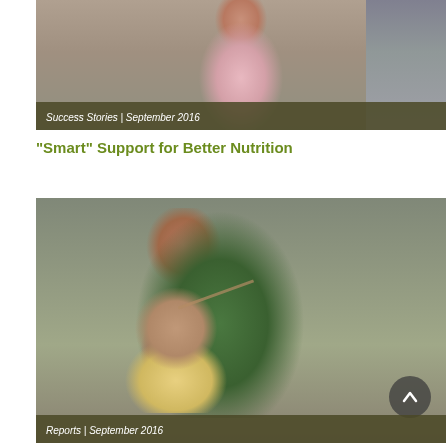[Figure (photo): A woman in a pink shirt holding a smartphone, with a scooter visible in the background. Outdoor setting.]
Success Stories | September 2016
“Smart” Support for Better Nutrition
[Figure (photo): A woman in a green sari feeding a baby with a spoon. The baby is seated on the woman’s lap. Outdoor setting against a grey wall.]
Reports | September 2016